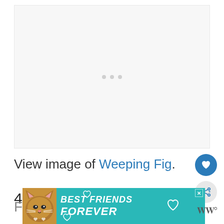[Figure (photo): Placeholder image area with loading dots, light gray background]
View image of Weeping Fig.
4. Florist's Chrysanthemum
[Figure (other): Advertisement banner with cat illustration: BEST FRIENDS FOREVER, teal background]